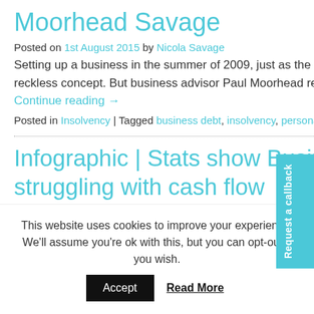Moorhead Savage
Posted on 1st August 2015 by Nicola Savage
Setting up a business in the summer of 2009, just as the recession was about to bite hard, might have seemed an almost reckless concept. But business advisor Paul Moorhead recognised that a tough market would almost certainly need a … Continue reading →
Posted in Insolvency | Tagged business debt, insolvency, personal debt
Infographic | Stats show Businesess and Individuals still struggling with cash flow
This website uses cookies to improve your experience. We'll assume you're ok with this, but you can opt-out if you wish.
Accept  Read More